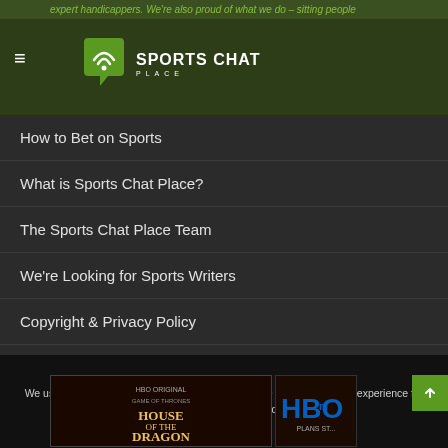expert handicappers. We're also proud of what we do – sitting people
[Figure (logo): Sports Chat Place logo with green signal/wifi icon and white text]
How to Bet on Sports
What is Sports Chat Place?
The Sports Chat Place Team
We're Looking for Sports Writers
Copyright & Privacy Policy
Advertise
© Copyright 2022, All Rights Reserved  |  Sports Chat Place / Dawn Patrol, LLC. | 18+
We use cookies and other data collection technologies to provide the experience for our data not be shared Data.
[Figure (screenshot): HBO Original House of the Dragon advertisement banner with HBO logo]